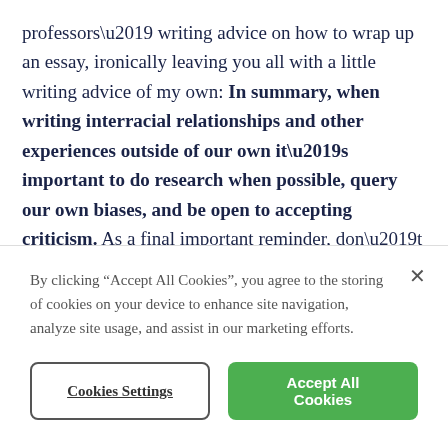professors' writing advice on how to wrap up an essay, ironically leaving you all with a little writing advice of my own: In summary, when writing interracial relationships and other experiences outside of our own it's important to do research when possible, query our own biases, and be open to accepting criticism. As a final important reminder, don't be afraid to ask for help! This is a topic we're
By clicking “Accept All Cookies”, you agree to the storing of cookies on your device to enhance site navigation, analyze site usage, and assist in our marketing efforts.
Cookies Settings
Accept All Cookies